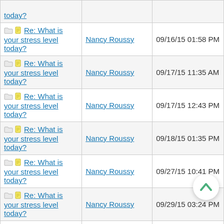| Topic | Author | Date |
| --- | --- | --- |
| Re: What is your stress level today? | Nancy Roussy | 09/16/15 01:58 PM |
| Re: What is your stress level today? | Nancy Roussy | 09/17/15 11:35 AM |
| Re: What is your stress level today? | Nancy Roussy | 09/17/15 12:43 PM |
| Re: What is your stress level today? | Nancy Roussy | 09/18/15 01:35 PM |
| Re: What is your stress level today? | Nancy Roussy | 09/27/15 10:41 PM |
| Re: What is your stress level today? | Nancy Roussy | 09/29/15 03:24 PM |
| Re: What is your stress level today? | Nancy Roussy | 09/30/15 05:30 PM |
| Re: What is your stress level today? | Nancy Roussy | 10/02/15 01:01 AM |